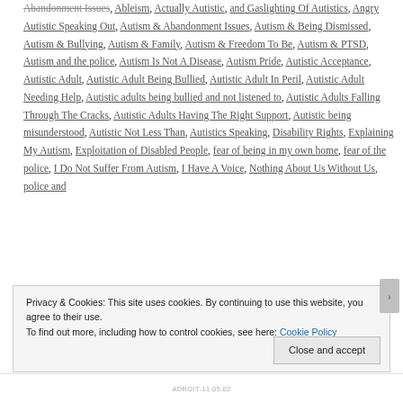Abandonment Issues, Ableism, Actually Autistic, and Gaslighting Of Autistics, Angry Autistic Speaking Out, Autism & Abandonment Issues, Autism & Being Dismissed, Autism & Bullying, Autism & Family, Autism & Freedom To Be, Autism & PTSD, Autism and the police, Autism Is Not A Disease, Autism Pride, Autistic Acceptance, Autistic Adult, Autistic Adult Being Bullied, Autistic Adult In Peril, Autistic Adult Needing Help, Autistic adults being bullied and not listened to, Autistic Adults Falling Through The Cracks, Autistic Adults Having The Right Support, Autistic being misunderstood, Autistic Not Less Than, Autistics Speaking, Disability Rights, Explaining My Autism, Exploitation of Disabled People, fear of being in my own home, fear of the police, I Do Not Suffer From Autism, I Have A Voice, Nothing About Us Without Us, police and
Privacy & Cookies: This site uses cookies. By continuing to use this website, you agree to their use.
To find out more, including how to control cookies, see here: Cookie Policy
Close and accept
ADROIT-11.05.02